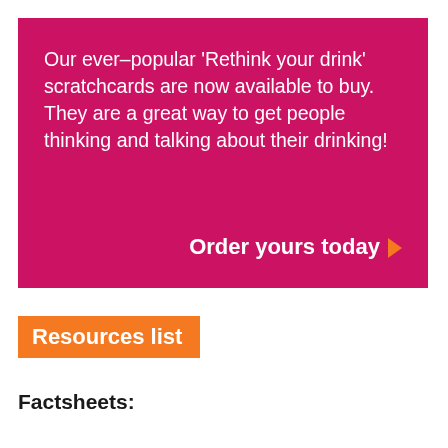Our ever-popular 'Rethink your drink' scratchcards are now available to buy. They are a great way to get people thinking and talking about their drinking!
Order yours today ›
Resources list
Factsheets: